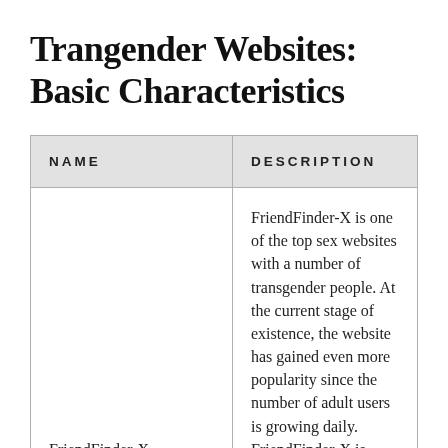Trangender Websites: Basic Characteristics
| NAME | DESCRIPTION |
| --- | --- |
| FriendFinder-X | FriendFinder-X is one of the top sex websites with a number of transgender people. At the current stage of existence, the website has gained even more popularity since the number of adult users is growing daily. FriendFinder-X is made for LGBT people as well as heterosexual couples. FriendFinder-X serves well if anyone wants to connect with others and satisfy their sexual needs. Members of the FriendFinder-X shemale website |